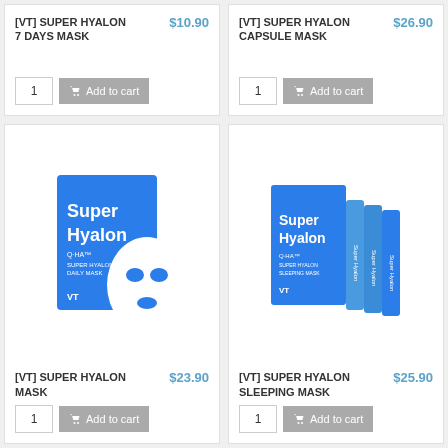[VT] SUPER HYALON 7 DAYS MASK
$10.90
[VT] SUPER HYALON CAPSULE MASK
$26.90
[Figure (photo): VT Super Hyalon face mask product - blue package with white face mask sheet displayed]
[VT] SUPER HYALON MASK
$23.90
[Figure (photo): VT Super Hyalon sleeping mask product - blue box with stick sachets]
[VT] SUPER HYALON SLEEPING MASK
$25.90